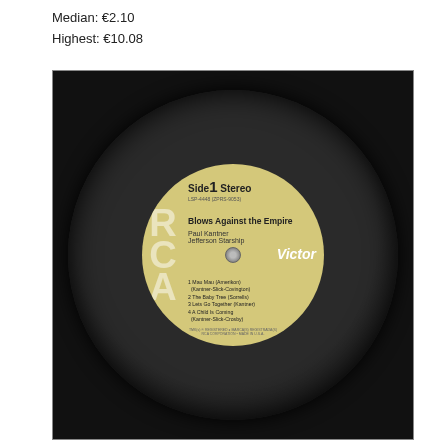Median: €2.10
Highest: €10.08
[Figure (photo): Photograph of an RCA Victor vinyl record label for 'Blows Against the Empire' by Paul Kantner and Jefferson Starship. Side 1 Stereo, catalog LSP-4448 (ZPRS-9053). Tracks: 1 Mau Mau (Amerikon) (Kantner-Slick-Covington), 2 The Baby Tree (Sorrells), 3 Lets Go Together (Kantner), 4 A Child Is Coming (Kantner-Slick-Crosby).]